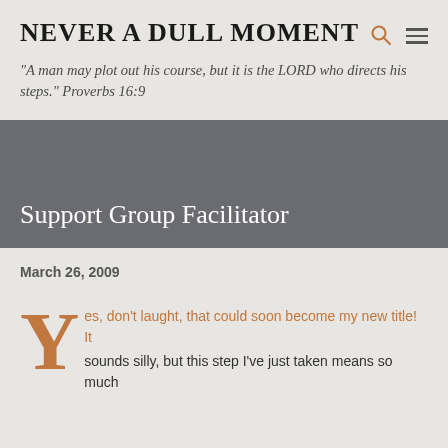NEVER A DULL MOMENT
"A man may plot out his course, but it is the LORD who directs his steps." Proverbs 16:9
Support Group Facilitator
March 26, 2009
Yes, don't laught, that could soon become my new title! It sounds silly, but this step I've just taken means so much